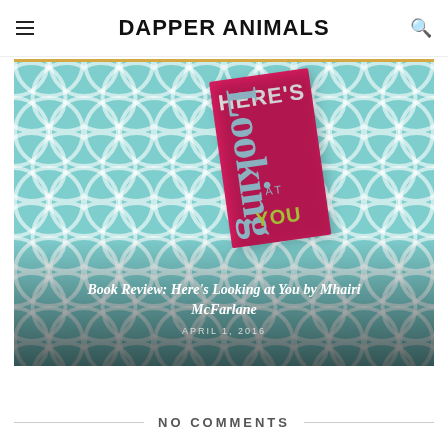DAPPER ANIMALS
[Figure (photo): Book review hero image showing the cover of 'Here's Looking at You' by Mhairi McFarlane against a teal fish-scale/scallop pattern background. The book cover is pink/red. Overlaid text reads 'Book Review: Here's Looking at You by Mhairi McFarlane' and date 'APRIL 1, 2016'.]
NO COMMENTS